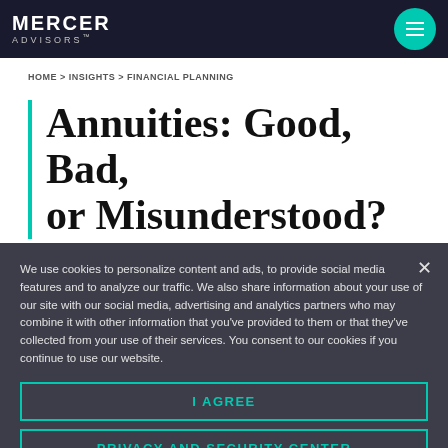MERCER ADVISORS
HOME > INSIGHTS > FINANCIAL PLANNING
Annuities: Good, Bad, or Misunderstood?
We use cookies to personalize content and ads, to provide social media features and to analyze our traffic. We also share information about your use of our site with our social media, advertising and analytics partners who may combine it with other information that you've provided to them or that they've collected from your use of their services. You consent to our cookies if you continue to use our website.
I AGREE
PRIVACY AND SECURITY CENTER